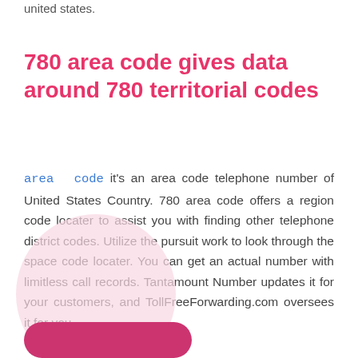united states.
780 area code gives data around 780 territorial codes
area code it's an area code telephone number of United States Country. 780 area code offers a region code locater to assist you with finding other telephone district codes. Utilize the pursuit work to look through the space code locater. You can get an actual number with limitless call records. Tantamount Number updates it for your customers, and TollFreeForwarding.com oversees it for you.
[Figure (illustration): Pink circle background with a pink rounded rectangle button partially visible at the bottom]